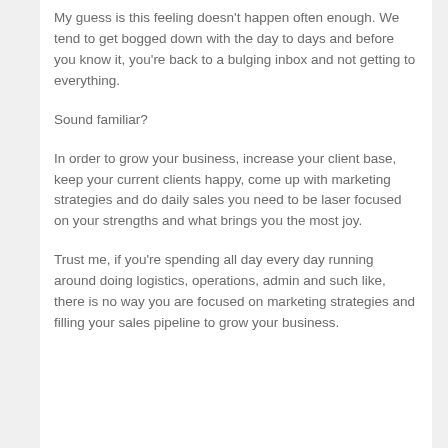My guess is this feeling doesn't happen often enough. We tend to get bogged down with the day to days and before you know it, you're back to a bulging inbox and not getting to everything.
Sound familiar?
In order to grow your business, increase your client base, keep your current clients happy, come up with marketing strategies and do daily sales you need to be laser focused on your strengths and what brings you the most joy.
Trust me, if you're spending all day every day running around doing logistics, operations, admin and such like, there is no way you are focused on marketing strategies and filling your sales pipeline to grow your business.